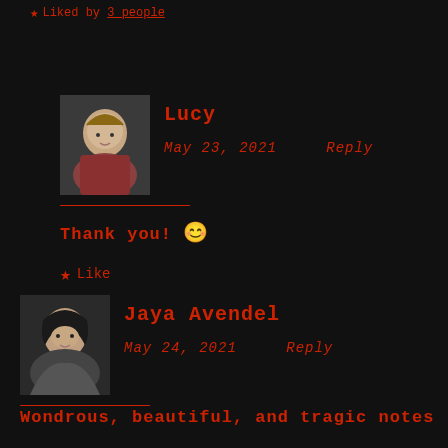★ Liked by 3 people
Lucy
May 23, 2021    Reply
Thank you! 😊
★ Like
Jaya Avendel
May 24, 2021    Reply
Wondrous, beautiful, and tragic notes